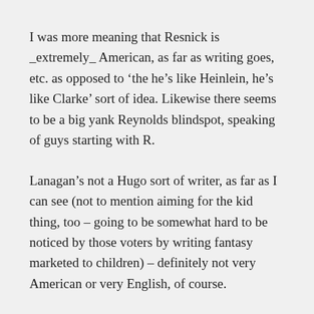I was more meaning that Resnick is _extremely_ American, as far as writing goes, etc. as opposed to ‘the he’s like Heinlein, he’s like Clarke’ sort of idea. Likewise there seems to be a big yank Reynolds blindspot, speaking of guys starting with R.
Lanagan’s not a Hugo sort of writer, as far as I can see (not to mention aiming for the kid thing, too – going to be somewhat hard to be noticed by those voters by writing fantasy marketed to children) – definitely not very American or very English, of course.